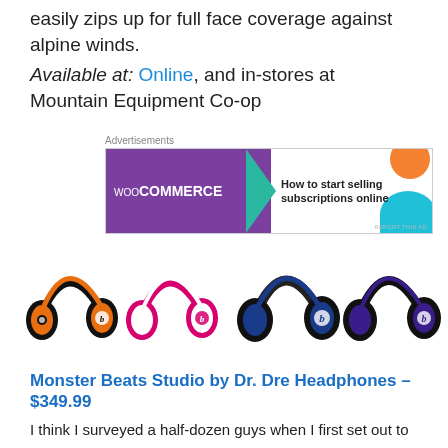easily zips up for full face coverage against alpine winds.
Available at: Online, and in-stores at Mountain Equipment Co-op
[Figure (other): WooCommerce advertisement banner: purple background with WooCommerce logo on the left, teal arrow shape pointing right, white right side with text 'How to start selling subscriptions online', orange circle and teal arc decorative elements. 'REPORT THIS AD' label in lower right.]
[Figure (photo): Four Beats by Dr. Dre Studio headphones in different colors: orange/black, pink/white, navy blue/black, purple/black. All shown side by side.]
Monster Beats Studio by Dr. Dre Headphones – $349.99
I think I surveyed a half-dozen guys when I first set out to write this post, asking them on my their wish lists and...